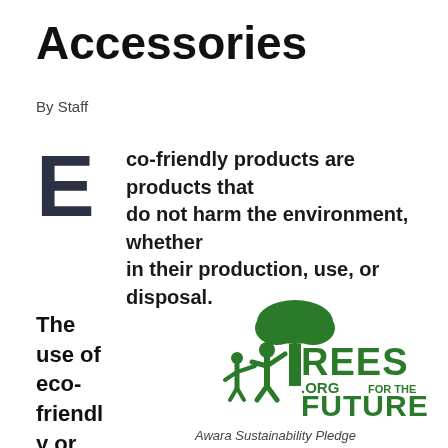Accessories
By Staff
Eco-friendly products are products that do not harm the environment, whether in their production, use, or disposal.
[Figure (logo): Trees.org For The Future logo with green tree and two human figures, with caption 'Awara Sustainability Pledge']
Awara Sustainability Pledge
The use of eco-friendly or going green produ